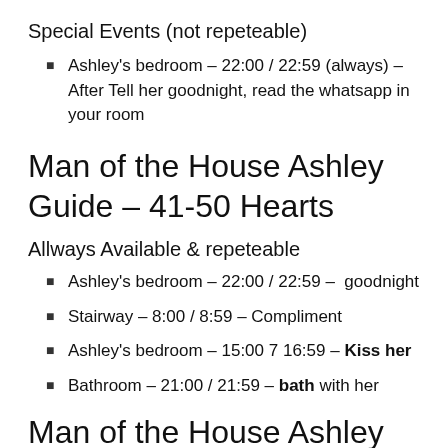Special Events (not repeteable)
Ashley's bedroom – 22:00 / 22:59 (always) – After Tell her goodnight, read the whatsapp in your room
Man of the House Ashley Guide – 41-50 Hearts
Allways Available & repeteable
Ashley's bedroom – 22:00 / 22:59 –  goodnight
Stairway – 8:00 / 8:59 – Compliment
Ashley's bedroom – 15:00 7 16:59 – Kiss her
Bathroom – 21:00 / 21:59 – bath with her
Man of the House Ashley Guide – 51-